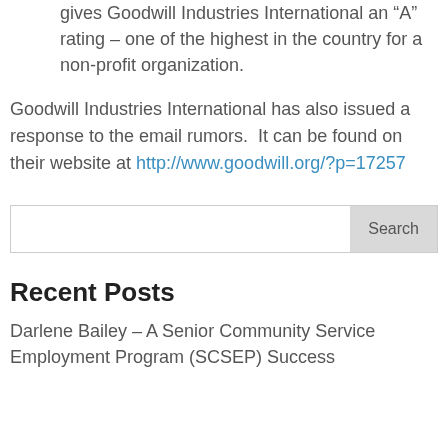gives Goodwill Industries International an “A” rating – one of the highest in the country for a non-profit organization.
Goodwill Industries International has also issued a response to the email rumors.  It can be found on their website at http://www.goodwill.org/?p=17257
Search
Recent Posts
Darlene Bailey – A Senior Community Service Employment Program (SCSEP) Success